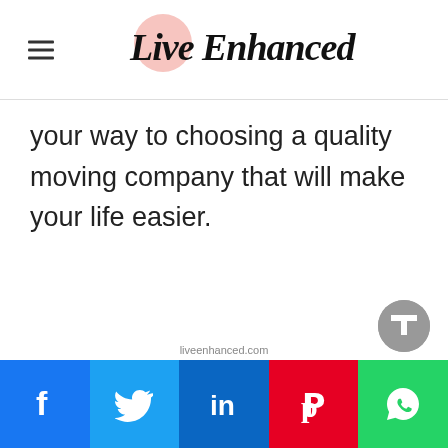Live Enhanced
your way to choosing a quality moving company that will make your life easier.
Facebook Twitter LinkedIn Pinterest WhatsApp